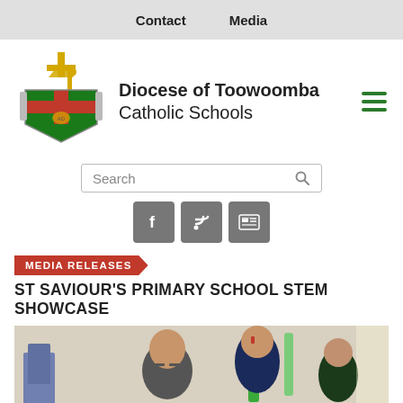Contact   Media
[Figure (logo): Diocese of Toowoomba Catholic Schools crest/shield logo with bishop's cross and mitre]
Diocese of Toowoomba Catholic Schools
[Figure (other): Search bar with magnifying glass icon]
[Figure (other): Social media icon buttons: Facebook, RSS feed, News]
MEDIA RELEASES
ST SAVIOUR'S PRIMARY SCHOOL STEM SHOWCASE
[Figure (photo): Students at the STEM showcase event, smiling at the camera inside a school gymnasium]